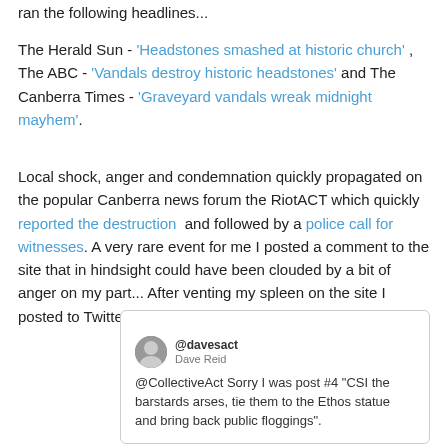ran the following headlines...
The Herald Sun - 'Headstones smashed at historic church' , The ABC - 'Vandals destroy historic headstones' and The Canberra Times - 'Graveyard vandals wreak midnight mayhem'.
Local shock, anger and condemnation quickly propagated on the popular Canberra news forum the RiotACT which quickly reported the destruction  and followed by a police call for witnesses. A very rare event for me I posted a comment to the site that in hindsight could have been clouded by a bit of anger on my part... After venting my spleen on the site I posted to Twitter that I had vented... someone asked what...
[Figure (screenshot): A tweet from @davesact (Dave Reid) reading: @CollectiveAct Sorry I was post #4 "CSI the barstards arses, tie them to the Ethos statue and bring back public floggings".]